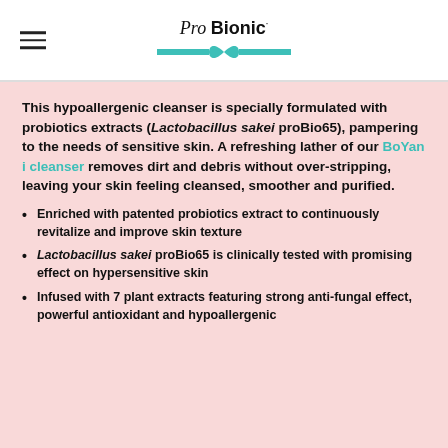Pro Bionic logo
This hypoallergenic cleanser is specially formulated with probiotics extracts (Lactobacillus sakei proBio65), pampering to the needs of sensitive skin. A refreshing lather of our BoYan i cleanser removes dirt and debris without over-stripping, leaving your skin feeling cleansed, smoother and purified.
Enriched with patented probiotics extract to continuously revitalize and improve skin texture
Lactobacillus sakei proBio65 is clinically tested with promising effect on hypersensitive skin
Infused with 7 plant extracts featuring strong anti-fungal effect, powerful antioxidant and hypoallergenic